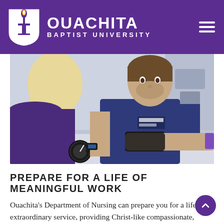OUACHITA BAPTIST UNIVERSITY
[Figure (photo): Nursing student in purple scrubs taking blood pressure of another student using a sphygmomanometer in a clinical lab setting]
PREPARE FOR A LIFE OF MEANINGFUL WORK
Ouachita's Department of Nursing can prepare you for a life of extraordinary service, providing Christ-like compassionate, holistic care to those in need—which is critically important as the U.S. experiences a nursing shortage. When you earn a